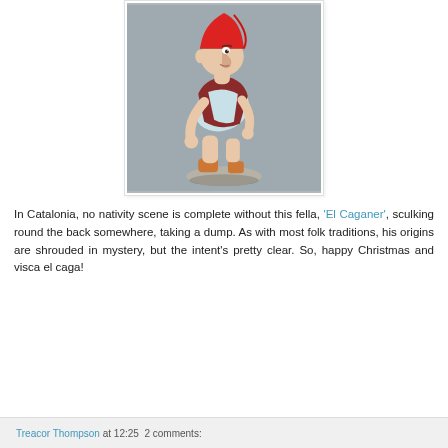[Figure (illustration): 3D rendered figurine of El Caganer — a Catalan Christmas character wearing a red cap and rust-colored vest, squatting with trousers down, set against a grey background.]
In Catalonia, no nativity scene is complete without this fella, 'El Caganer', sculking round the back somewhere, taking a dump. As with most folk traditions, his origins are shrouded in mystery, but the intent's pretty clear. So, happy Christmas and visca el caga!
Treacor Thompson at 12:25   2 comments: